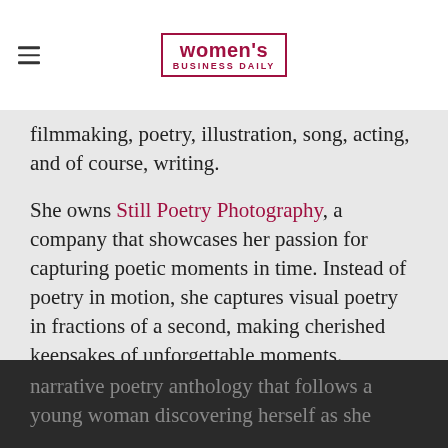women's BUSINESS DAILY
filmmaking, poetry, illustration, song, acting, and of course, writing.
She owns Still Poetry Photography, a company that showcases her passion for capturing poetic moments in time. Instead of poetry in motion, she captures visual poetry in fractions of a second, making cherished keepsakes of unforgettable moments.
She is the artist behind the Still Poetry Etsy shop, which houses her illustrations and bespoke, handmade items. She is the author of intricacies are just cracks in the wall, a narrative poetry anthology that follows a young woman discovering herself as she